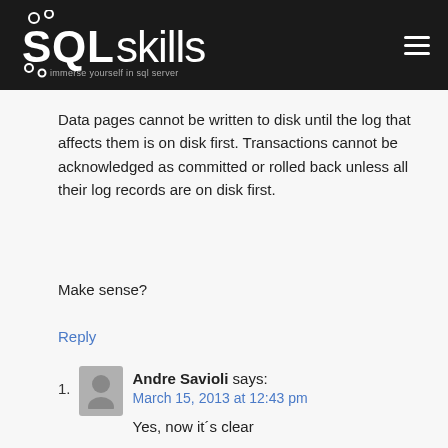SQLskills — immerse yourself in sql server
Data pages cannot be written to disk until the log that affects them is on disk first. Transactions cannot be acknowledged as committed or rolled back unless all their log records are on disk first.
Make sense?
Reply
1. Andre Savioli says: March 15, 2013 at 12:43 pm Yes, now it´s clear